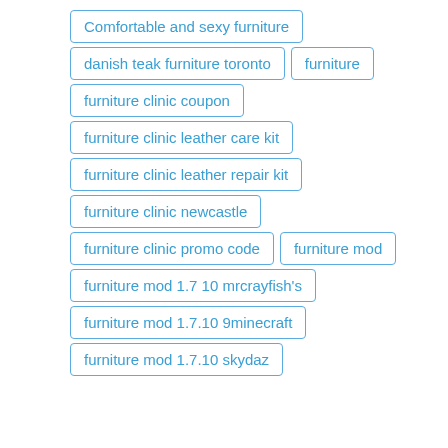Comfortable and sexy furniture
danish teak furniture toronto
furniture
furniture clinic coupon
furniture clinic leather care kit
furniture clinic leather repair kit
furniture clinic newcastle
furniture clinic promo code
furniture mod
furniture mod 1.7 10 mrcrayfish's
furniture mod 1.7.10 9minecraft
furniture mod 1.7.10 skydaz